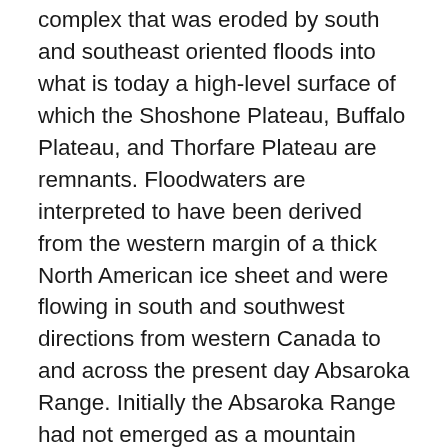complex that was eroded by south and southeast oriented floods into what is today a high-level surface of which the Shoshone Plateau, Buffalo Plateau, and Thorfare Plateau are remnants. Floodwaters are interpreted to have been derived from the western margin of a thick North American ice sheet and were flowing in south and southwest directions from western Canada to and across the present day Absaroka Range. Initially the Absaroka Range had not emerged as a mountain range and over time floodwaters flowed across the emerging Absaroka Range. Absaroka Range emergence was probably caused by ice sheet related crustal warping and by headward erosion of deep valleys into the developing mountain mass. At first deep southeast and southwest oriented flood flow channels eroded headward into the rising mountain mass to systematically capture south and southeast flood flow channels. Floodwaters on north and northwest ends of